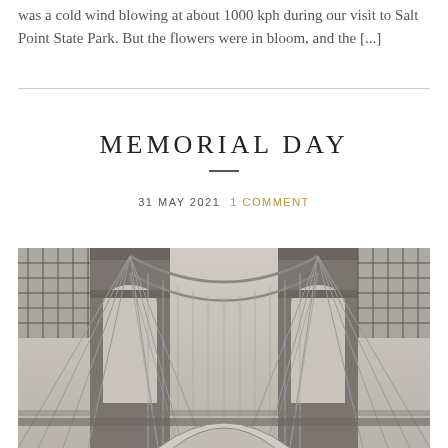was a cold wind blowing at about 1000 kph during our visit to Salt Point State Park. But the flowers were in bloom, and the [...]
MEMORIAL DAY
31 MAY 2021   1 COMMENT
[Figure (photo): Black and white photograph looking up at the Brooklyn Bridge towers and cable suspension system, showing the characteristic Gothic arches and grid of vertical suspender cables fanning out symmetrically from the central towers.]